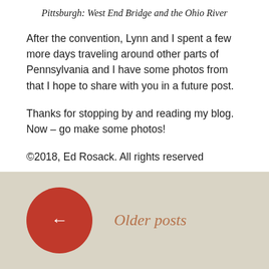Pittsburgh: West End Bridge and the Ohio River
After the convention, Lynn and I spent a few more days traveling around other parts of Pennsylvania and I have some photos from that I hope to share with you in a future post.
Thanks for stopping by and reading my blog. Now – go make some photos!
©2018, Ed Rosack. All rights reserved
View all 2 comments
Older posts